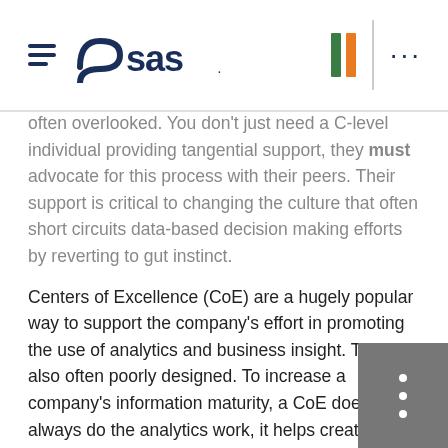SAS logo header with navigation icons
often overlooked. You don't just need a C-level individual providing tangential support, they must advocate for this process with their peers. Their support is critical to changing the culture that often short circuits data-based decision making efforts by reverting to gut instinct.
Centers of Excellence (CoE) are a hugely popular way to support the company's effort in promoting the use of analytics and business insight. They are also often poorly designed. To increase a company's information maturity, a CoE does not always do the analytics work, it helps create a framework for everyone in the company using data to make better decisions. These organizations should not be bottlenecks -- they should be enablers (in the best